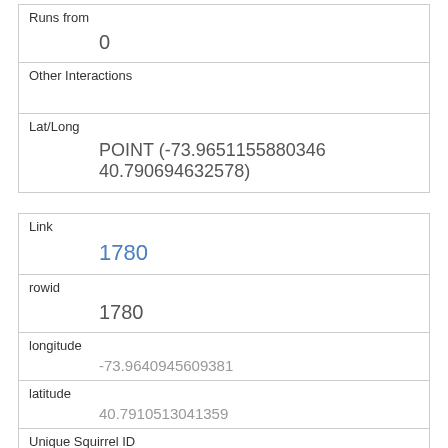| Runs from | 0 |
| Other Interactions |  |
| Lat/Long | POINT (-73.9651155880346 40.790694632578) |
| Link | 1780 |
| rowid | 1780 |
| longitude | -73.9640945609381 |
| latitude | 40.7910513041359 |
| Unique Squirrel ID | 30A-PM-1020-04 |
| Hectare | 30A |
| Shift | PM |